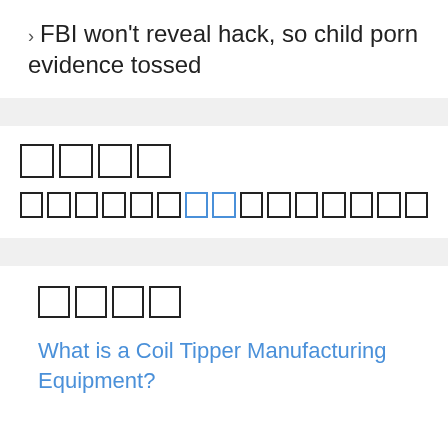› FBI won't reveal hack, so child porn evidence tossed
[boxes/squares - unrenderable characters]
[boxes/squares with blue highlighted boxes - unrenderable characters]
[boxes/squares - unrenderable characters]
What is a Coil Tipper Manufacturing Equipment?